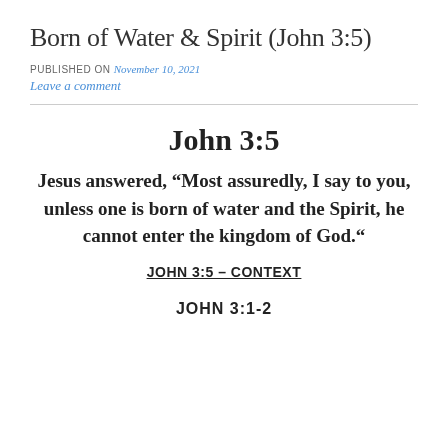Born of Water & Spirit (John 3:5)
PUBLISHED ON November 10, 2021
Leave a comment
John 3:5
Jesus answered, “Most assuredly, I say to you, unless one is born of water and the Spirit, he cannot enter the kingdom of God.“
JOHN 3:5 – CONTEXT
JOHN 3:1-2